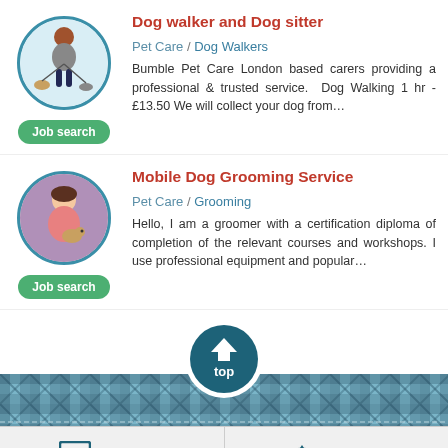Dog walker and Dog sitter
Pet Care / Dog Walkers
Bumble Pet Care London based carers providing a professional & trusted service. Dog Walking 1 hr - £13.50 We will collect your dog from…
Mobile Dog Grooming Service
Pet Care / Grooming
Hello, I am a groomer with a certification diploma of completion of the relevant courses and workshops. I use professional equipment and popular…
[Figure (illustration): Circular avatar illustration of a woman walking dogs]
[Figure (photo): Circular photo of a woman holding a small dog]
[Figure (infographic): Tartan patterned footer bar with 'top' button]
New Ad
Top Up